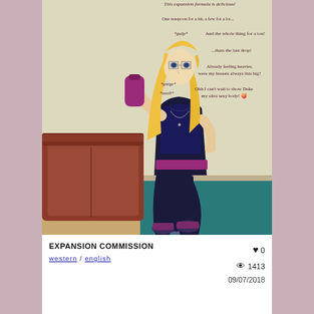[Figure (illustration): Anime-style illustration of a blonde woman in dark athletic wear drinking from a pink/purple bottle in a room with a brown couch and teal floor. Speech bubbles with text overlay the image.]
EXPANSION COMMISSION
western / english
♥ 0  👁 1413  09/07/2018